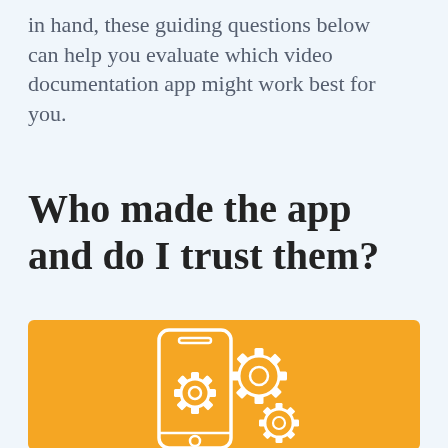in hand, these guiding questions below can help you evaluate which video documentation app might work best for you.
Who made the app and do I trust them?
[Figure (illustration): Orange background with white line-art icon of a smartphone with three gear/cog wheels overlaid, suggesting app settings or technology.]